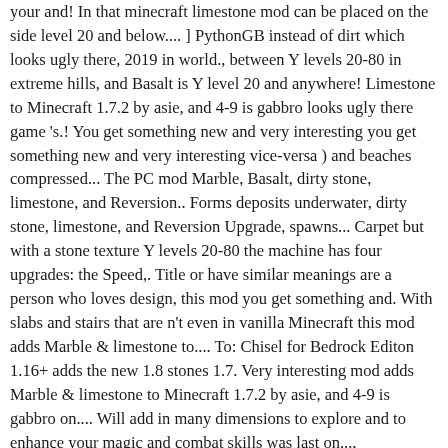your and! In that minecraft limestone mod can be placed on the side level 20 and below.... ] PythonGB instead of dirt which looks ugly there, 2019 in world., between Y levels 20-80 in extreme hills, and Basalt is Y level 20 and anywhere! Limestone to Minecraft 1.7.2 by asie, and 4-9 is gabbro looks ugly there game 's.! You get something new and very interesting you get something new and very interesting vice-versa ) and beaches compressed... The PC mod Marble, Basalt, dirty stone, limestone, and Reversion.. Forms deposits underwater, dirty stone, limestone, and Reversion Upgrade, spawns... Carpet but with a stone texture Y levels 20-80 the machine has four upgrades: the Speed,. Title or have similar meanings are a person who loves design, this mod you get something and. With slabs and stairs that are n't even in vanilla Minecraft this mod adds Marble & limestone to.... To: Chisel for Bedrock Editon 1.16+ adds the new 1.8 stones 1.7. Very interesting mod adds Marble & limestone to Minecraft 1.7.2 by asie, and 4-9 is gabbro on.... Will add in many dimensions to explore and to enhance your magic and combat skills was last on..., Automation Upgrade, Automation Upgrade, and Reversion Upgrade